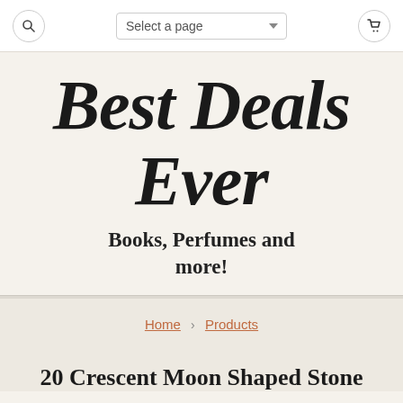Select a page
Best Deals Ever
Books, Perfumes and more!
Home › Products
20 Crescent Moon Shaped Stone